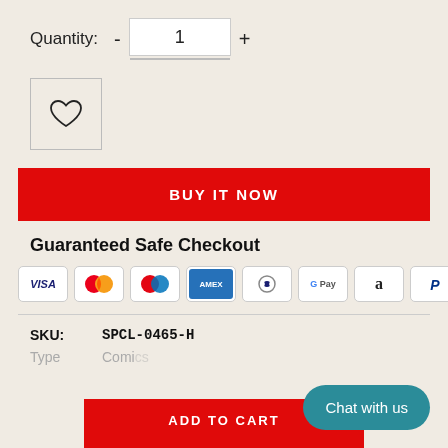Quantity: - 1 +
[Figure (illustration): Wishlist/favorite button with heart icon inside a bordered square]
BUY IT NOW
Guaranteed Safe Checkout
[Figure (infographic): Payment method icons: VISA, Mastercard, Maestro, AMEX, Diners Club, Google Pay, Amazon, PayPal]
SKU: SPCL-0465-H
Type Comics
ADD TO CART
Chat with us